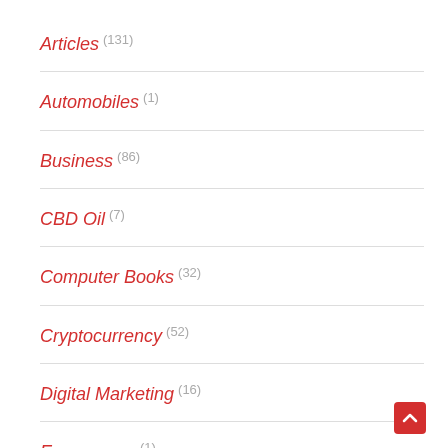Articles (131)
Automobiles (1)
Business (86)
CBD Oil (7)
Computer Books (32)
Cryptocurrency (52)
Digital Marketing (16)
Ecommerce (1)
Entertainment (10)
Essay Writing (9)